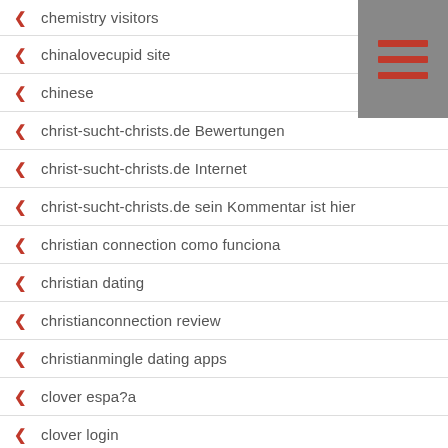chemistry visitors
chinalovecupid site
chinese
christ-sucht-christs.de Bewertungen
christ-sucht-christs.de Internet
christ-sucht-christs.de sein Kommentar ist hier
christian connection como funciona
christian dating
christianconnection review
christianmingle dating apps
clover espa?a
clover login
cofee meet bagel review